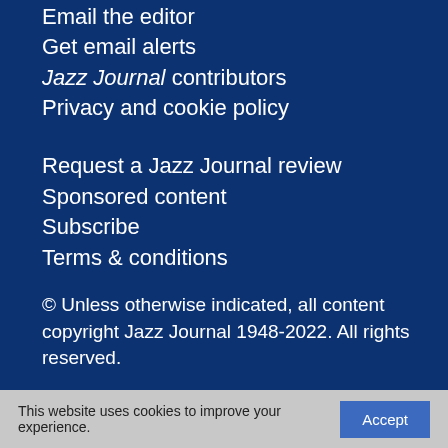Email the editor
Get email alerts
Jazz Journal contributors
Privacy and cookie policy
Request a Jazz Journal review
Sponsored content
Subscribe
Terms & conditions
The old Jazz Journal website
Unlock an article
© Unless otherwise indicated, all content copyright Jazz Journal 1948-2022. All rights reserved.
This website uses cookies to improve your experience.